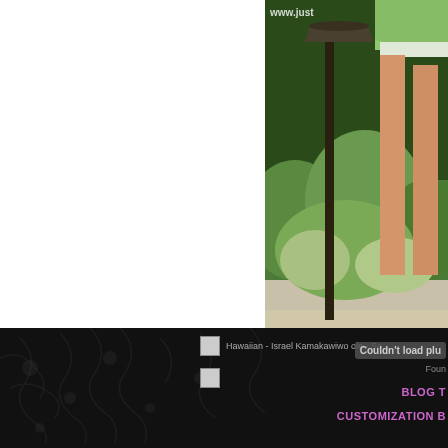[Figure (photo): Partial outdoor photograph showing the lower portion of a child in a green dress with sandals/shoes, standing on a paved path with garden greenery and a lamp post in the background. Website watermark 'www.just...' visible in top right corner.]
POSTED IN BOYNTON BEACH, CHILDREN, FAMILY PORTRAITS, PAL...
[Figure (screenshot): Dark footer area with flower/vine texture background. Contains two small image thumbnails, text 'Hawaiian - Israel Kamakawiwo ole - So...', error message 'Couldn't load plu...', 'Foun...' text, 'BLOG T...' link in purple, and 'CUSTOMIZATION B...' link in purple.]